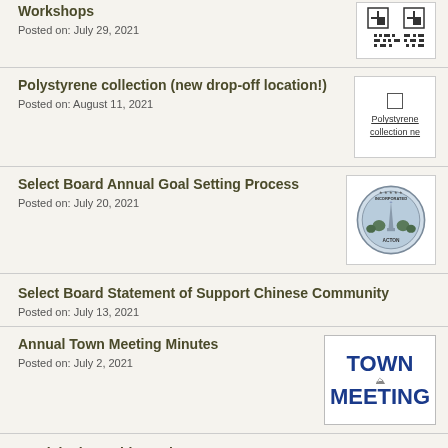Workshops
Posted on: July 29, 2021
Polystyrene collection (new drop-off location!)
Posted on: August 11, 2021
Select Board Annual Goal Setting Process
Posted on: July 20, 2021
Select Board Statement of Support Chinese Community
Posted on: July 13, 2021
Annual Town Meeting Minutes
Posted on: July 2, 2021
Municipal Monthly - July 2021
Posted on: July 1, 2021